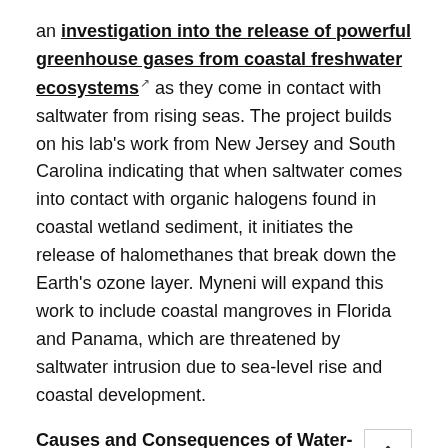an investigation into the release of powerful greenhouse gases from coastal freshwater ecosystems as they come in contact with saltwater from rising seas. The project builds on his lab's work from New Jersey and South Carolina indicating that when saltwater comes into contact with organic halogens found in coastal wetland sediment, it initiates the release of halomethanes that break down the Earth's ozone layer. Myneni will expand this work to include coastal mangroves in Florida and Panama, which are threatened by saltwater intrusion due to sea-level rise and coastal development.
Causes and Consequences of Water-Mediated Pattern Formation in Arid African Rangelands
Corina Tarnita and Robert Pringle, associate